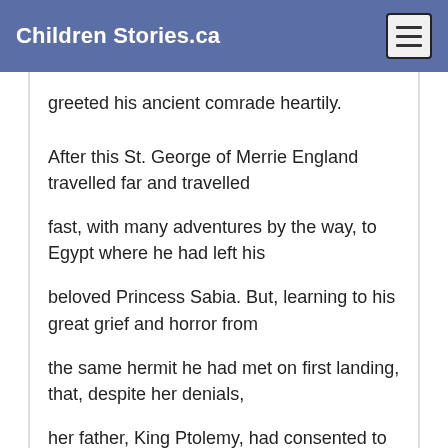Children Stories.ca
greeted his ancient comrade heartily.
After this St. George of Merrie England travelled far and travelled
fast, with many adventures by the way, to Egypt where he had left his
beloved Princess Sabia. But, learning to his great grief and horror from
the same hermit he had met on first landing, that, despite her denials,
her father, King Ptolemy, had consented to Almidor the